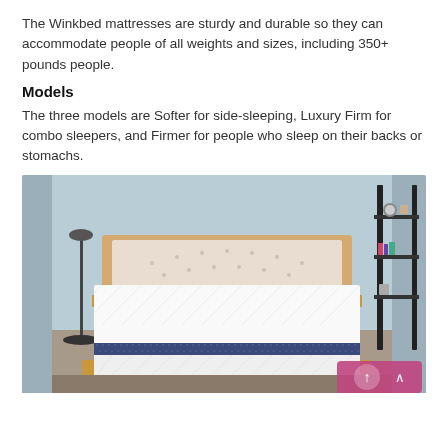The Winkbed mattresses are sturdy and durable so they can accommodate people of all weights and sizes, including 350+ pounds people.
Models
The three models are Softer for side-sleeping, Luxury Firm for combo sleepers, and Firmer for people who sleep on their backs or stomachs.
[Figure (photo): A white Winkbed mattress with navy blue border stitching displayed on a wooden bed frame in a bedroom with light blue walls, a small bookshelf/ladder shelf on the right, and a nightstand with a plant on the left.]